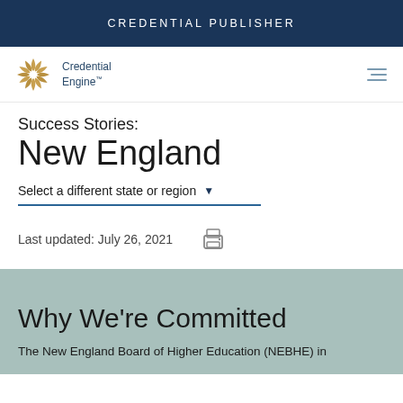CREDENTIAL PUBLISHER
[Figure (logo): Credential Engine logo with sunburst icon and text 'Credential Engine']
Success Stories: New England
Select a different state or region
Last updated: July 26, 2021
Why We're Committed
The New England Board of Higher Education (NEBHE) in